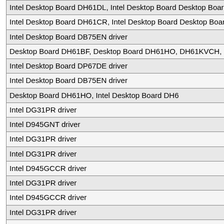| Intel Desktop Board DH61DL, Intel Desktop Board Desktop Board DH61WW, Intel Desktop Board DH6 |
| Intel Desktop Board DH61CR, Intel Desktop Board Desktop Board DH61WW, Intel Desktop Board DH6 |
| Intel Desktop Board DB75EN driver |
| Desktop Board DH61BF, Desktop Board DH61HO, DH61KVCH, Desktop Board DH61SKCH, Intel Desk DH61BF driver |
| Intel Desktop Board DP67DE driver |
| Intel Desktop Board DB75EN driver |
| Desktop Board DH61HO, Intel Desktop Board DH6 |
| Intel DG31PR driver |
| Intel D945GNT driver |
| Intel DG31PR driver |
| Intel DG31PR driver |
| Intel D945GCCR driver |
| Intel DG31PR driver |
| Intel D945GCCR driver |
| Intel DG31PR driver |
| Intel DG31PR driver |
| Intel DG31PR driver |
| Intel D945GCPE driver |
| Intel DG31PR driver |